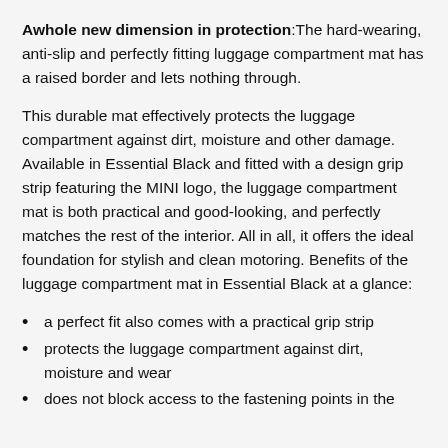Awhole new dimension in protection: The hard-wearing, anti-slip and perfectly fitting luggage compartment mat has a raised border and lets nothing through.
This durable mat effectively protects the luggage compartment against dirt, moisture and other damage. Available in Essential Black and fitted with a design grip strip featuring the MINI logo, the luggage compartment mat is both practical and good-looking, and perfectly matches the rest of the interior. All in all, it offers the ideal foundation for stylish and clean motoring. Benefits of the luggage compartment mat in Essential Black at a glance:
a perfect fit also comes with a practical grip strip
protects the luggage compartment against dirt, moisture and wear
does not block access to the fastening points in the